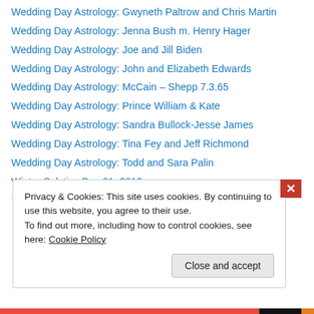Wedding Day Astrology: Gwyneth Paltrow and Chris Martin
Wedding Day Astrology: Jenna Bush m. Henry Hager
Wedding Day Astrology: Joe and Jill Biden
Wedding Day Astrology: John and Elizabeth Edwards
Wedding Day Astrology: McCain – Shepp 7.3.65
Wedding Day Astrology: Prince William & Kate
Wedding Day Astrology: Sandra Bullock-Jesse James
Wedding Day Astrology: Tina Fey and Jeff Richmond
Wedding Day Astrology: Todd and Sara Palin
Winter Solstice Dec 21, 2012
AUGUST 2022
Privacy & Cookies: This site uses cookies. By continuing to use this website, you agree to their use.
To find out more, including how to control cookies, see here: Cookie Policy
Close and accept